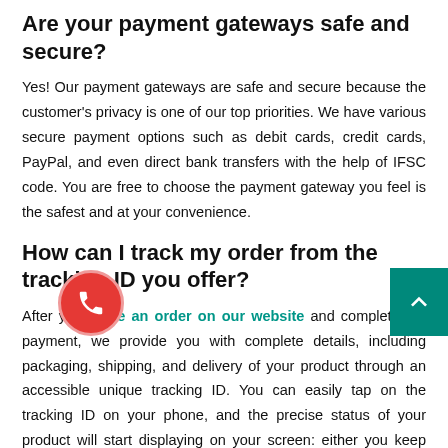Are your payment gateways safe and secure?
Yes! Our payment gateways are safe and secure because the customer's privacy is one of our top priorities. We have various secure payment options such as debit cards, credit cards, PayPal, and even direct bank transfers with the help of IFSC code. You are free to choose the payment gateway you feel is the safest and at your convenience.
How can I track my order from the tracking ID you offer?
After you place an order on our website and complete the payment, we provide you with complete details, including packaging, shipping, and delivery of your product through an accessible unique tracking ID. You can easily tap on the tracking ID on your phone, and the precise status of your product will start displaying on your screen: either you keep checking it from time